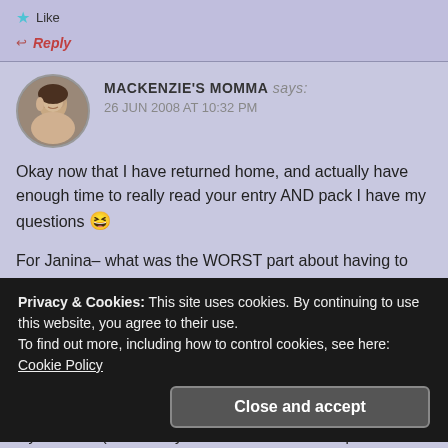★ Like
↩ Reply
MACKENZIE'S MOMMA says:
26 JUN 2008 AT 10:32 PM
Okay now that I have returned home, and actually have enough time to really read your entry AND pack I have my questions 😆
For Janina– what was the WORST part about having to work on the set? (i.e. the fog, the trees, or the wild
Privacy & Cookies: This site uses cookies. By continuing to use this website, you agree to their use.
To find out more, including how to control cookies, see here: Cookie Policy
Close and accept
my 'vacation'(can it really be called that when I'll spend